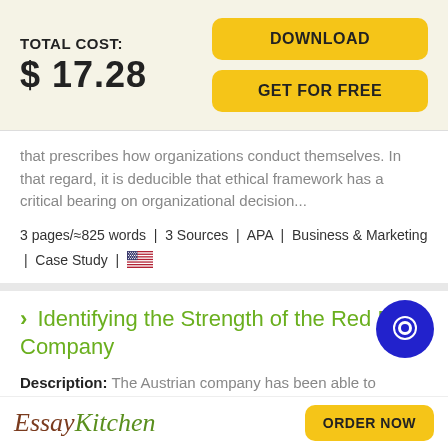TOTAL COST: $ 17.28
DOWNLOAD
GET FOR FREE
that prescribes how organizations conduct themselves. In that regard, it is deducible that ethical framework has a critical bearing on organizational decision...
3 pages/≈825 words | 3 Sources | APA | Business & Marketing | Case Study |
Identifying the Strength of the Red Bull Company
Description: The Austrian company has been able to establish itself as the largest energy drink company in...
EssayKitchen
ORDER NOW